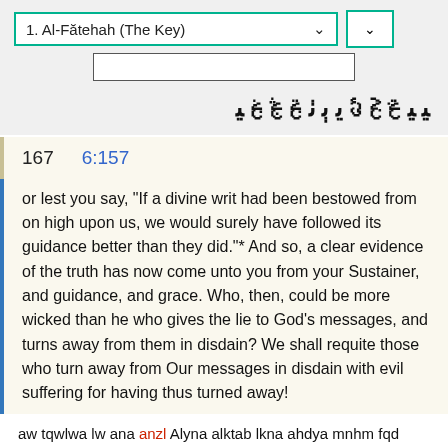1. Al-Fătehah (The Key)
[Figure (screenshot): Arabic text line in large bold script, right-to-left]
167    6:157
or lest you say, "If a divine writ had been bestowed from on high upon us, we would surely have followed its guidance better than they did."* And so, a clear evidence of the truth has now come unto you from your Sustainer, and guidance, and grace. Who, then, could be more wicked than he who gives the lie to God's messages, and turns away from them in disdain? We shall requite those who turn away from Our messages in disdain with evil suffering for having thus turned away!
aw tqwlwa lw ana anzl Alyna alktab lkna ahdya mnhm fqd jaakm bynẗ mn rbkm whdy wrHmẗ fmn aZlm mmn kźb